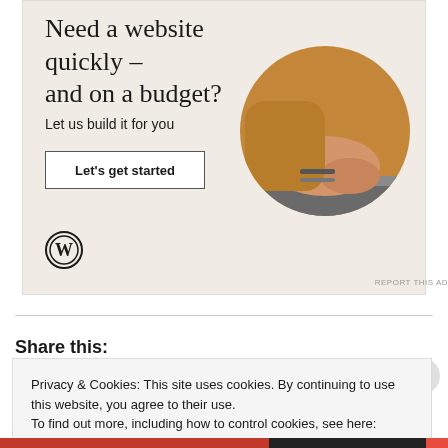[Figure (illustration): WordPress advertisement banner with beige background. Shows headline 'Need a website quickly – and on a budget?', subtext 'Let us build it for you', a white button 'Let's get started', WordPress logo at bottom left, and a circular cropped photo of hands typing on a laptop.]
REPORT THIS AD
Share this:
Privacy & Cookies: This site uses cookies. By continuing to use this website, you agree to their use.
To find out more, including how to control cookies, see here: Cookie Policy
Close and accept